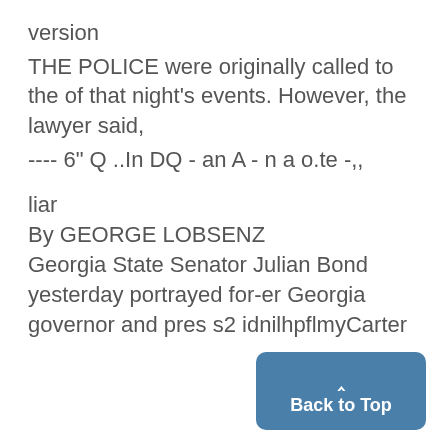version
THE POLICE were originally called to the of that night's events. However, the lawyer said,
---- 6" Q ..In DQ - an A - n a o.te -,,
liar
By GEORGE LOBSENZ
Georgia State Senator Julian Bond yesterday portrayed for-er Georgia governor and pres s2 idnilhpflmyCarter
[Figure (other): Blue rounded rectangle button with caret/arrow icon and 'Back to Top' label]